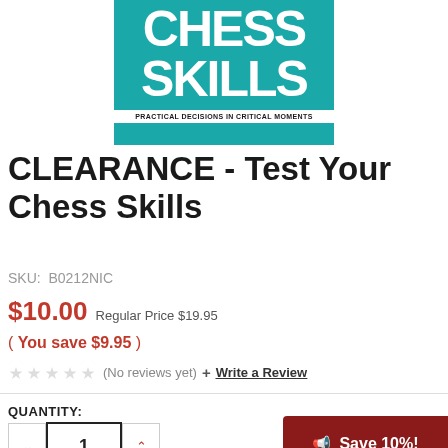[Figure (illustration): Book cover for 'Chess Skills: Practical Decisions in Critical Moments' with teal/cyan background, bold white text for CHESS SKILLS, and a subtitle bar at the bottom.]
CLEARANCE - Test Your Chess Skills
SKU: B0212NIC
$10.00 Regular Price $19.95
( You save $9.95 )
(No reviews yet) + Write a Review
QUANTITY:
1
Save 10%!